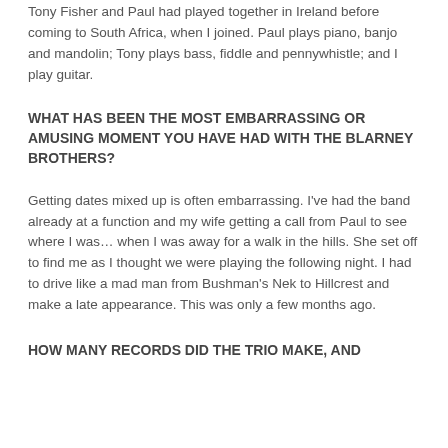Tony Fisher and Paul had played together in Ireland before coming to South Africa, when I joined. Paul plays piano, banjo and mandolin; Tony plays bass, fiddle and pennywhistle; and I play guitar.
WHAT HAS BEEN THE MOST EMBARRASSING OR AMUSING MOMENT YOU HAVE HAD WITH THE BLARNEY BROTHERS?
Getting dates mixed up is often embarrassing. I've had the band already at a function and my wife getting a call from Paul to see where I was… when I was away for a walk in the hills. She set off to find me as I thought we were playing the following night. I had to drive like a mad man from Bushman's Nek to Hillcrest and make a late appearance. This was only a few months ago.
HOW MANY RECORDS DID THE TRIO MAKE, AND